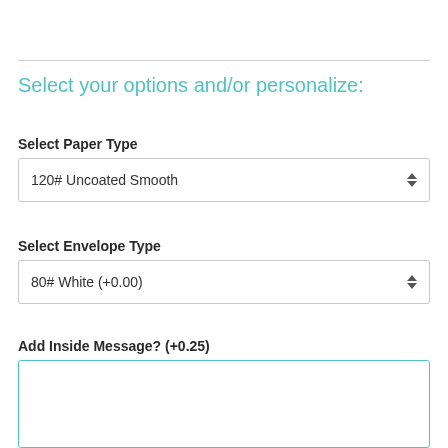Select your options and/or personalize:
Select Paper Type
120# Uncoated Smooth
Select Envelope Type
80# White (+0.00)
Add Inside Message? (+0.25)